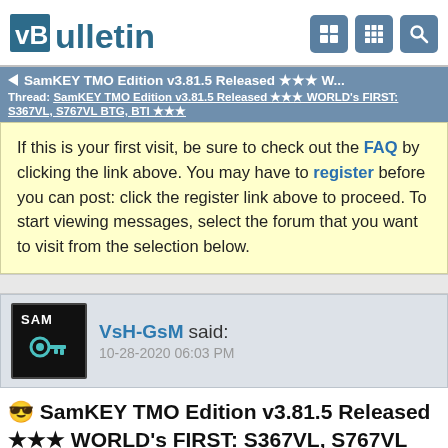vBulletin
SamKEY TMO Edition v3.81.5 Released ★★★ W...
Thread: SamKEY TMO Edition v3.81.5 Released ★★★ WORLD's FIRST: S367VL, S767VL BTG, BTI ★★★
If this is your first visit, be sure to check out the FAQ by clicking the link above. You may have to register before you can post: click the register link above to proceed. To start viewing messages, select the forum that you want to visit from the selection below.
VsH-GsM said: 10-28-2020 06:03 PM
😎 SamKEY TMO Edition v3.81.5 Released ★★★ WORLD's FIRST: S367VL, S767VL BTG, BTI ★★★